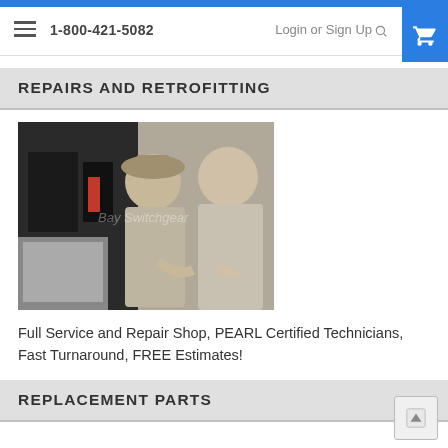1-800-421-5082  Login or Sign Up
REPAIRS AND RETROFITTING
[Figure (photo): Two technicians in khaki uniforms working on electrical switchgear equipment in a repair shop. Watermark text reads 'Bay Switchgear'.]
Full Service and Repair Shop, PEARL Certified Technicians, Fast Turnaround, FREE Estimates!
REPLACEMENT PARTS